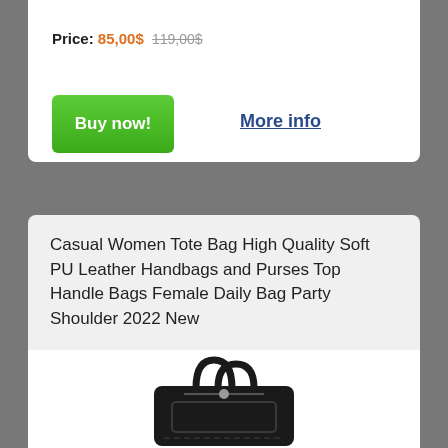Price: 85,00$ 119,00$
Buy now!
More info
Casual Women Tote Bag High Quality Soft PU Leather Handbags and Purses Top Handle Bags Female Daily Bag Party Shoulder 2022 New
[Figure (photo): Black leather handbag/tote bag with dual top handles, shown from the front]